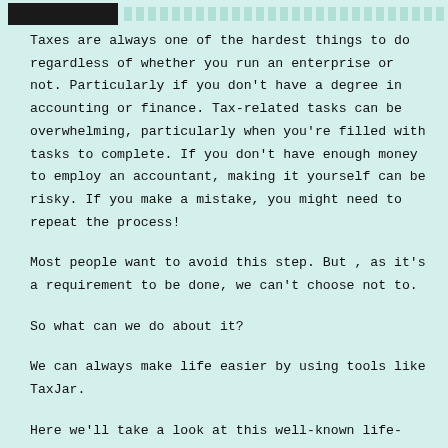[Figure (other): Header bar with black logo/banner on left and teal wave/pattern on right]
Taxes are always one of the hardest things to do regardless of whether you run an enterprise or not. Particularly if you don't have a degree in accounting or finance. Tax-related tasks can be overwhelming, particularly when you're filled with tasks to complete. If you don't have enough money to employ an accountant, making it yourself can be risky. If you make a mistake, you might need to repeat the process!
Most people want to avoid this step. But , as it's a requirement to be done, we can't choose not to.
So what can we do about it?
We can always make life easier by using tools like TaxJar.
Here we'll take a look at this well-known life-saving device and how it can help you. Although this is quite an extensive and but